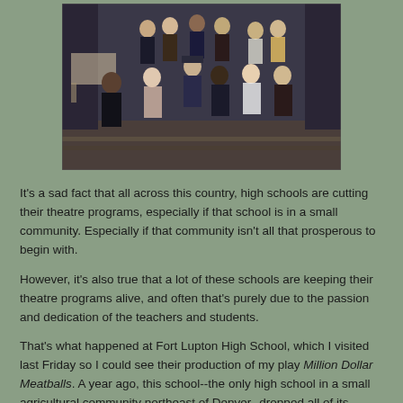[Figure (photo): Group photo of students and a teacher on a stage in costumes for a theatre production, taken at Fort Lupton High School.]
It's a sad fact that all across this country, high schools are cutting their theatre programs, especially if that school is in a small community. Especially if that community isn't all that prosperous to begin with.
However, it's also true that a lot of these schools are keeping their theatre programs alive, and often that's purely due to the passion and dedication of the teachers and students.
That's what happened at Fort Lupton High School, which I visited last Friday so I could see their production of my play Million Dollar Meatballs. A year ago, this school--the only high school in a small agricultural community northeast of Denver--dropped all of its theatre classes due to budget constraints.